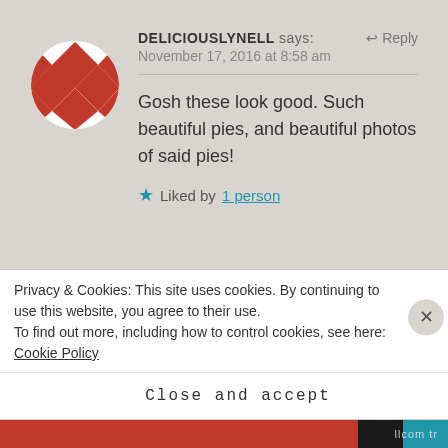[Figure (illustration): Circular avatar with red and white checkerboard/diamond quilt pattern]
DELICIOUSLYNELL says: ↩ Reply
November 17, 2016 at 8:58 am
Gosh these look good. Such beautiful pies, and beautiful photos of said pies!
★ Liked by 1 person
THIS CAKE IS DESI says: ↩ Reply
Privacy & Cookies: This site uses cookies. By continuing to use this website, you agree to their use.
To find out more, including how to control cookies, see here: Cookie Policy
Close and accept